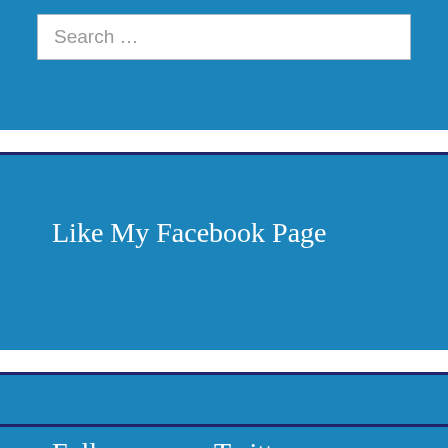[Figure (screenshot): Search box with placeholder text 'Search ...' on a blue background]
Like My Facebook Page
[Figure (screenshot): Blue widget area (empty)]
Follow me on Twitter